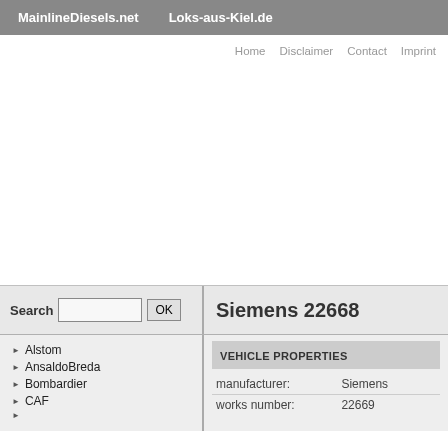MainlineDiesels.net    Loks-aus-Kiel.de
Home    Disclaimer    Contact    Imprint
Search   OK
Siemens 22668
Alstom
AnsaldoBreda
Bombardier
CAF
VEHICLE PROPERTIES
| Property | Value |
| --- | --- |
| manufacturer: | Siemens |
| works number: | 22669 |